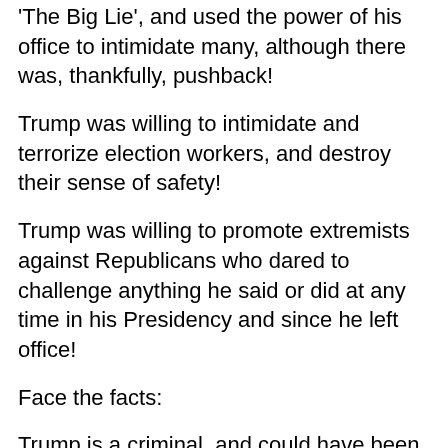'The Big Lie', and used the power of his office to intimidate many, although there was, thankfully, pushback!
Trump was willing to intimidate and terrorize election workers, and destroy their sense of safety!
Trump was willing to promote extremists against Republicans who dared to challenge anything he said or did at any time in his Presidency and since he left office!
Face the facts:
Trump is a criminal, and could have been part of Organized Crime!
Trump is a seditionist and traitor, inspiring the US Capitol attack, and defying constitutional